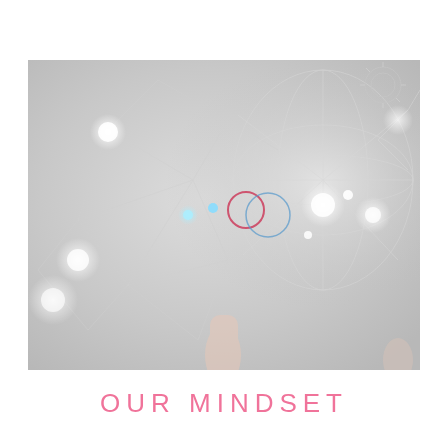[Figure (photo): A close-up photo of a hand touching or pointing at a digital network visualization — glowing nodes, interconnected lines forming a globe or mesh structure, with bright white and cyan light points against a light gray background. Geometric network/technology concept image.]
OUR MINDSET